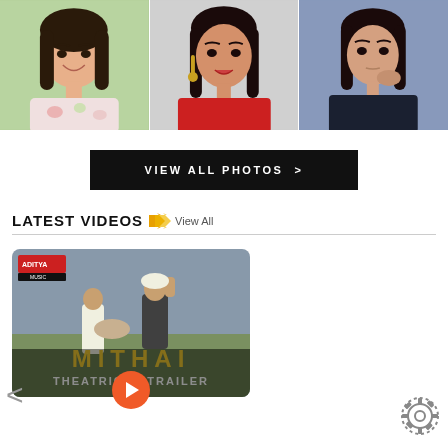[Figure (photo): Three celebrity photos side by side: smiling woman in floral top, woman in red outfit with earrings, woman in dark jacket with hand on chin]
VIEW ALL PHOTOS  >
LATEST VIDEOS  View All
[Figure (screenshot): Video thumbnail for MITHAI Theatrical Trailer showing two men in a field, one raising fist, with MITHAI THEATRICAL TRAILER text overlay and Aditya Music logo]